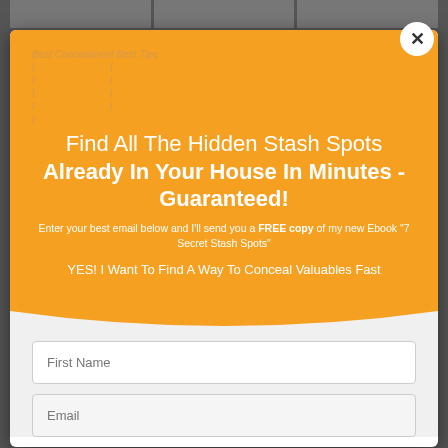Find All The Hidden Stash Spots Already In Your House In Minutes - Guaranteed!
Enter your best email below and I'll send you a FREE copy of my new Ebook "7 Secret Stash Spots"
YES! I Want To Find A Way To Conceal Valuables Fast
First Name
Email